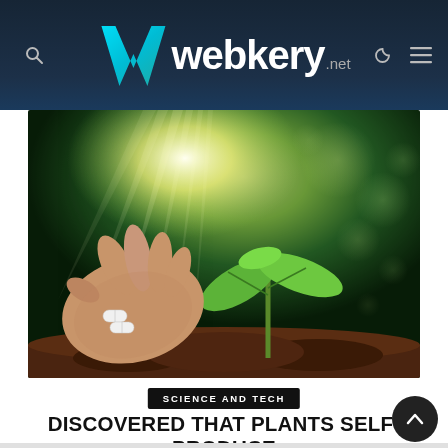webkery.net
[Figure (photo): A hand holding white aspirin pills next to a small green plant seedling growing from soil, with sunlight rays in the background and bokeh green background]
SCIENCE AND TECH
DISCOVERED THAT PLANTS SELF-PRODUCE ASPIRIN